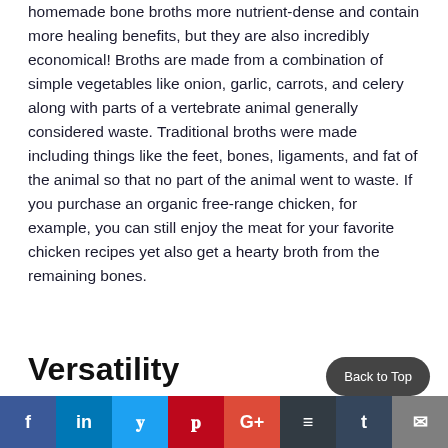homemade bone broths more nutrient-dense and contain more healing benefits, but they are also incredibly economical!  Broths are made from a combination of simple vegetables like onion, garlic, carrots, and celery along with parts of a vertebrate animal generally considered waste.  Traditional broths were made including things like the feet, bones, ligaments, and fat of the animal so that no part of the animal went to waste.  If you purchase an organic free-range chicken, for example, you can still enjoy the meat for your favorite chicken recipes yet also get a hearty broth from the remaining bones.
Versatility